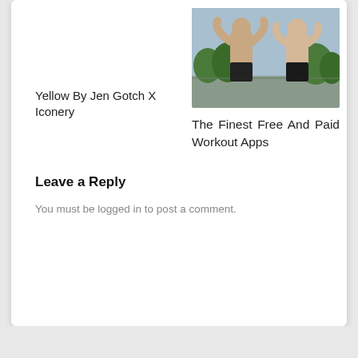[Figure (photo): Two shirtless muscular men flexing outdoors on a court with trees in background]
Yellow By Jen Gotch X Iconery
The Finest Free And Paid Workout Apps
Leave a Reply
You must be logged in to post a comment.